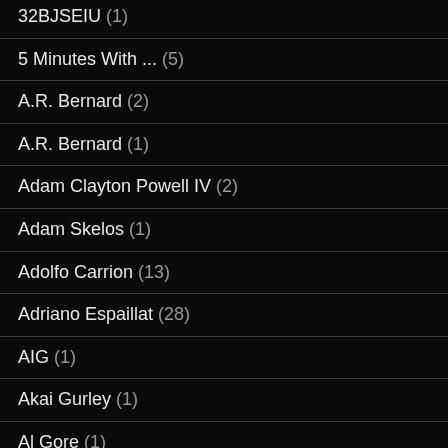32BJSEIU (1)
5 Minutes With ... (5)
A.R. Bernard (2)
A.R. Bernard (1)
Adam Clayton Powell IV (2)
Adam Skelos (1)
Adolfo Carrion (13)
Adriano Espaillat (28)
AIG (1)
Akai Gurley (1)
Al Gore (1)
Al Sharpton (33)
Alain Kaloyeros (2)